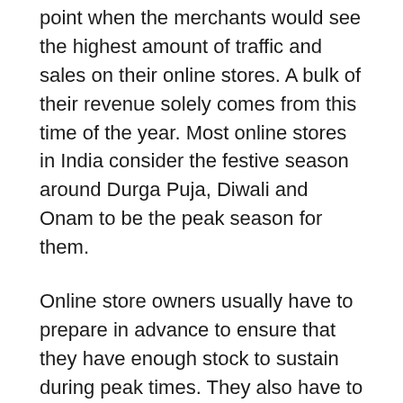point when the merchants would see the highest amount of traffic and sales on their online stores. A bulk of their revenue solely comes from this time of the year. Most online stores in India consider the festive season around Durga Puja, Diwali and Onam to be the peak season for them.
Online store owners usually have to prepare in advance to ensure that they have enough stock to sustain during peak times. They also have to include discounting strategies in their marketing budget for the peak season.
Drawbacks of the winter season for online stores in